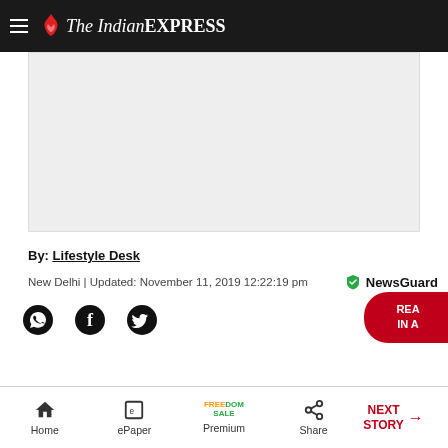The Indian EXPRESS
[Figure (other): Gray advertisement placeholder block]
By: Lifestyle Desk
New Delhi | Updated: November 11, 2019 12:22:19 pm
[Figure (other): Social share icons: WhatsApp, Facebook, Twitter]
Home | ePaper | Premium | Share | NEXT STORY